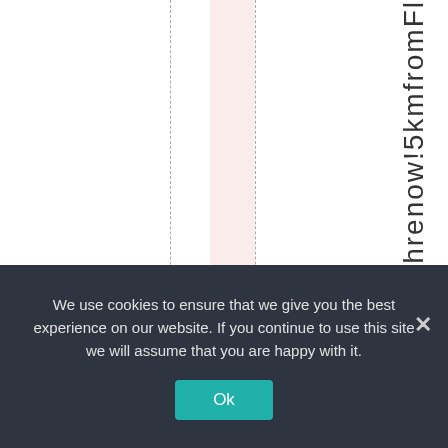[Figure (other): A webpage layout showing vertical dashed grid lines, a pink/salmon highlighted column, and vertical rotated text on the right reading 'fahrenow!5kmfromFl' (partial, truncated).]
We use cookies to ensure that we give you the best experience on our website. If you continue to use this site we will assume that you are happy with it.